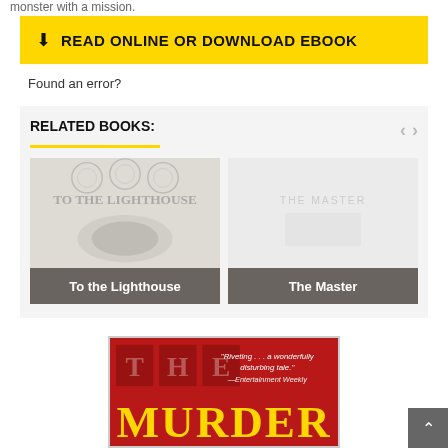monster with a mission.
READ ONLINE OR DOWNLOAD EBOOK
Found an error?
RELATED BOOKS:
[Figure (illustration): Related books carousel showing 'To the Lighthouse' and 'The Master' book covers]
[Figure (illustration): Partial book cover for 'The Murder' with red background and gold lettering, with pull quote: 'Riveting...a wonderfully disturbing tale.' —Entertainment Weekly]